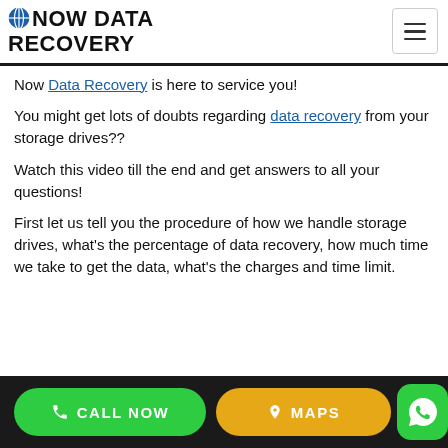Now Data Recovery
Now Data Recovery is here to service you!
You might get lots of doubts regarding data recovery from your storage drives??
Watch this video till the end and get answers to all your questions!
First let us tell you the procedure of how we handle storage drives, what's the percentage of data recovery, how much time we take to get the data, what's the charges and time limit.
CALL NOW   MAPS